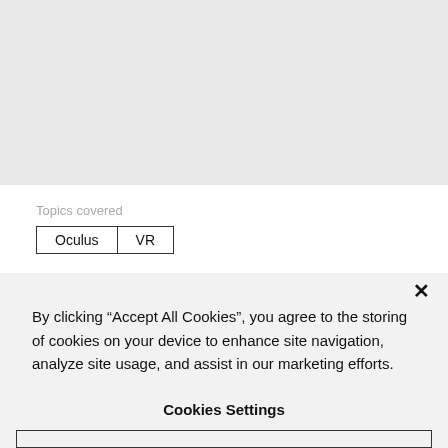[Figure (screenshot): Gray background area at the top of the page, representing a website content area]
Topics covered
Oculus   VR
By clicking “Accept All Cookies”, you agree to the storing of cookies on your device to enhance site navigation, analyze site usage, and assist in our marketing efforts.
Cookies Settings